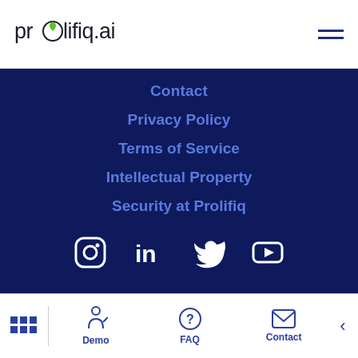[Figure (logo): prolifiq.ai logo with leaf icon]
Contact
Privacy Policy
Terms of Service
Intellectual Property
Security at Prolifiq
[Figure (illustration): Social media icons: Instagram, LinkedIn, Twitter, YouTube]
[Figure (logo): Salesforce AppExchange badge]
[Figure (infographic): Bottom navigation bar with grid/apps icon, Demo (person icon), FAQ (question mark icon), Contact (envelope icon), and back arrow]